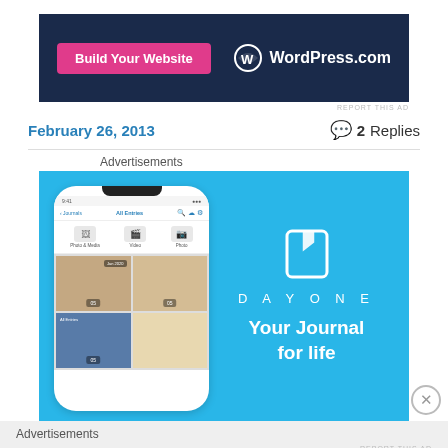[Figure (screenshot): WordPress.com advertisement banner with pink 'Build Your Website' button and WordPress logo on dark navy background]
REPORT THIS AD
February 26, 2013
2 Replies
Advertisements
[Figure (screenshot): DayOne app advertisement with light blue background showing phone screenshot of the journaling app and the text 'DAYONE - Your Journal for life']
Advertisements
REPORT THIS AD